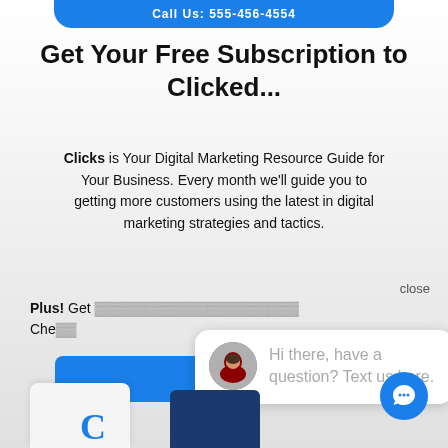Call Us: 555-456-4554
Get Your Free Subscription to Clicked...
Clicks is Your Digital Marketing Resource Guide for Your Business. Every month we'll guide you to getting more customers using the latest in digital marketing strategies and tactics.
close
Plus! Get [partially obscured]
[Figure (screenshot): Blue CTA button partially visible]
[Figure (screenshot): Chat popup bubble with avatar photo of a woman in red and text: Hi there, have a question? Text us here.]
[Figure (illustration): Blue circular chat icon button at bottom right]
[Figure (photo): Bottom decorative cards: white card with blue C letter and dark blue book card]